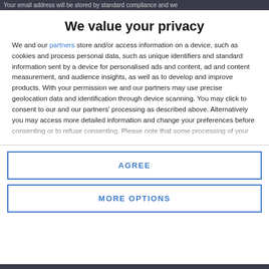Your email address will be stored by standard compliance and we
We value your privacy
We and our partners store and/or access information on a device, such as cookies and process personal data, such as unique identifiers and standard information sent by a device for personalised ads and content, ad and content measurement, and audience insights, as well as to develop and improve products. With your permission we and our partners may use precise geolocation data and identification through device scanning. You may click to consent to our and our partners' processing as described above. Alternatively you may access more detailed information and change your preferences before consenting or to refuse consenting. Please note that some processing of your
AGREE
MORE OPTIONS